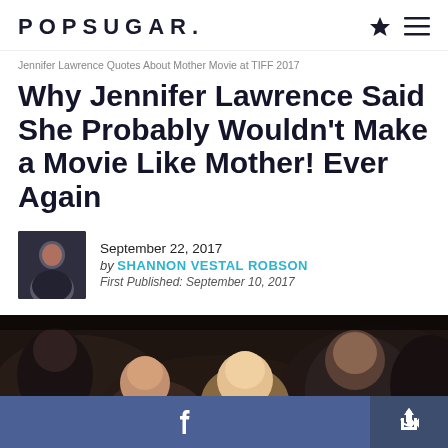POPSUGAR.
Jennifer Lawrence Quotes About Mother Movie at TIFF 2017
Why Jennifer Lawrence Said She Probably Wouldn't Make a Movie Like Mother! Ever Again
September 22, 2017
by SHANNON VESTAL ROBSON
First Published: September 10, 2017
[Figure (photo): Dark crowd photo likely from TIFF 2017 premiere event, showing audience members in low light]
[Figure (other): Bottom navigation bar with Facebook share button and general share icon button]